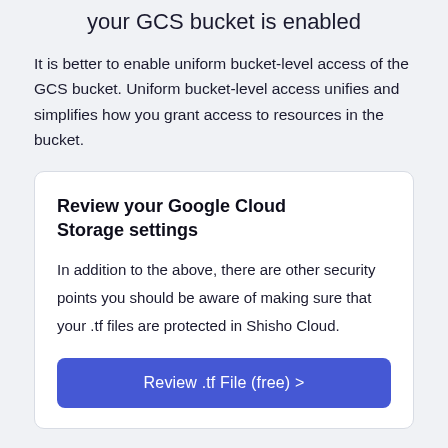your GCS bucket is enabled
It is better to enable uniform bucket-level access of the GCS bucket. Uniform bucket-level access unifies and simplifies how you grant access to resources in the bucket.
Review your Google Cloud Storage settings
In addition to the above, there are other security points you should be aware of making sure that your .tf files are protected in Shisho Cloud.
Review .tf File (free) >